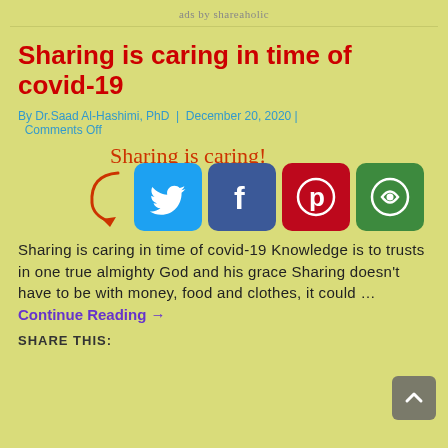ads by shareaholic
Sharing is caring in time of covid-19
By Dr.Saad Al-Hashimi, PhD | December 20, 2020 | Comments Off
[Figure (infographic): Social sharing buttons (Twitter, Facebook, Pinterest, Shareaholic) with handwritten text 'Sharing is caring!' and a red arrow pointing to the buttons]
Sharing is caring in time of covid-19 Knowledge is to trusts in one true almighty God and his grace Sharing doesn't have to be with money, food and clothes, it could …
Continue Reading →
SHARE THIS: